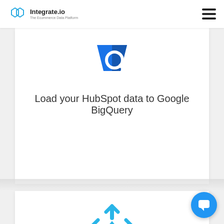Integrate.io — The Ecommerce Data Platform
[Figure (logo): BigQuery magnifying glass logo icon in blue]
Load your HubSpot data to Google BigQuery
[Figure (logo): Snowflake logo icon in light blue]
[Figure (other): Blue circular chat/support button with speech bubble icon]